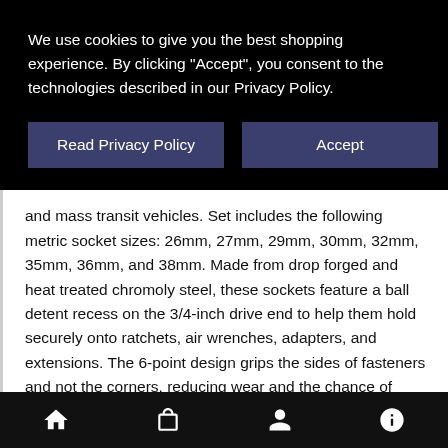We use cookies to give you the best shopping experience. By clicking "Accept", you consent to the technologies described in our Privacy Policy.
Read Privacy Policy | Accept
and mass transit vehicles. Set includes the following metric socket sizes: 26mm, 27mm, 29mm, 30mm, 32mm, 35mm, 36mm, and 38mm. Made from drop forged and heat treated chromoly steel, these sockets feature a ball detent recess on the 3/4-inch drive end to help them hold securely onto ratchets, air wrenches, adapters, and extensions. The 6-point design grips the sides of fasteners and not the corners, reducing wear and the chance of rounding the fastener. The sockets each feature a rust and corrosion resistant black phosphate protective coating with laser etched size callouts
Home | Bag | Account | Info